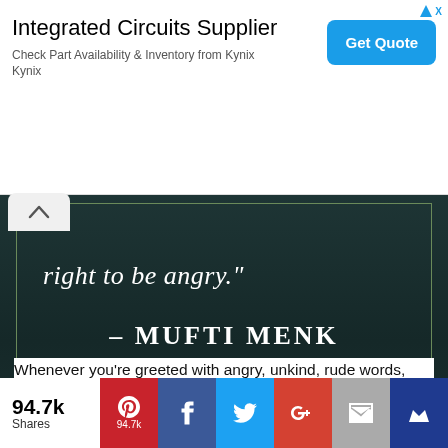[Figure (screenshot): Advertisement banner for Integrated Circuits Supplier (Kynix) with 'Get Quote' button]
[Figure (photo): Dark teal background image with decorative border showing quote text 'right to be angry.' and attribution '– Mufti Menk' in white serif font]
Whenever you're greeted with angry, unkind, rude words, pray for strength. Ask the Almighty to make you respond with the complete opposite.
[Figure (infographic): Social sharing bar showing 94.7k shares with Pinterest (94.7k), Facebook, Twitter, Google+, Email, and bookmark buttons]